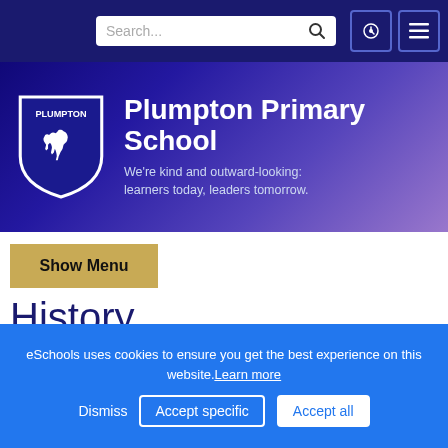Search... [search icon] [icon] [menu icon]
[Figure (logo): Plumpton Primary School logo with shield containing a horse, on dark blue/purple gradient banner]
Plumpton Primary School
We're kind and outward-looking: learners today, leaders tomorrow.
Show Menu
History
eSchools uses cookies to ensure you get the best experience on this website. Learn more
Dismiss   Accept specific   Accept all